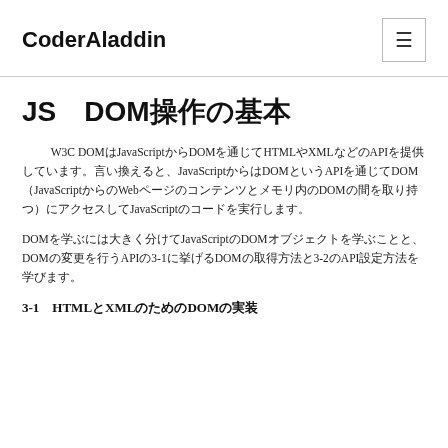CoderAladdin
JS　DOM操作の基本
W3C DOMはJavaScriptからDOMを通じてHTMLやXMLなどのAPIを提供しています。言い換えると、JavaScriptからはDOMというAPIを通じてDOM（JavaScriptからのWebページのコンテンツとメモリ内のDOMの間を取り持つ）にアクセスしてJavaScriptのコードを実行します。
DOMを学ぶには大きく分けてJavaScriptのDOMオブジェクトを学ぶことと、DOMの変更を行うAPIの3-1に挙げるDOMの取得方法と3-2のAPI設定方法を学びます。
3-1　HTMLとXMLのためのDOMの実装